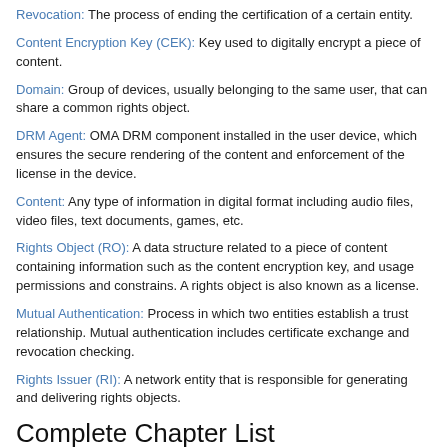Revocation: The process of ending the certification of a certain entity.
Content Encryption Key (CEK): Key used to digitally encrypt a piece of content.
Domain: Group of devices, usually belonging to the same user, that can share a common rights object.
DRM Agent: OMA DRM component installed in the user device, which ensures the secure rendering of the content and enforcement of the license in the device.
Content: Any type of information in digital format including audio files, video files, text documents, games, etc.
Rights Object (RO): A data structure related to a piece of content containing information such as the content encryption key, and usage permissions and constrains. A rights object is also known as a license.
Mutual Authentication: Process in which two entities establish a trust relationship. Mutual authentication includes certificate exchange and revocation checking.
Rights Issuer (RI): A network entity that is responsible for generating and delivering rights objects.
Complete Chapter List
Search this Book: